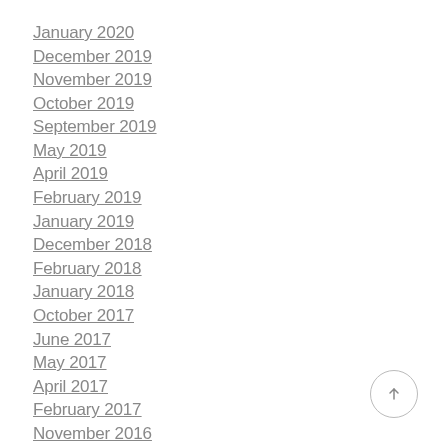January 2020
December 2019
November 2019
October 2019
September 2019
May 2019
April 2019
February 2019
January 2019
December 2018
February 2018
January 2018
October 2017
June 2017
May 2017
April 2017
February 2017
November 2016
October 2016
September 2016
July 2016